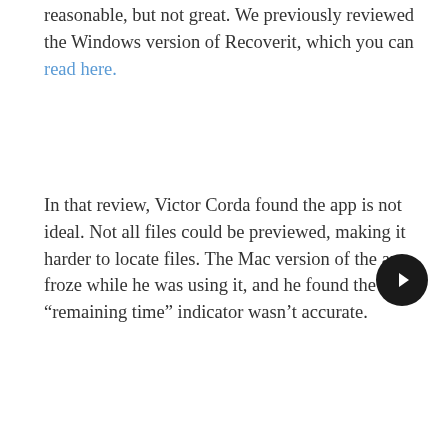reasonable, but not great. We previously reviewed the Windows version of Recoverit, which you can read here.
In that review, Victor Corda found the app is not ideal. Not all files could be previewed, making it harder to locate files. The Mac version of the app froze while he was using it, and he found the “remaining time” indicator wasn’t accurate.
[Figure (other): Dark circular navigation button with a right-pointing triangle (play/next arrow) icon inside]